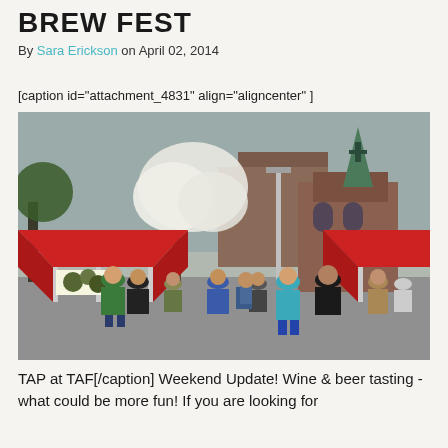BREW FEST
By Sara Erickson on April 02, 2014
[caption id="attachment_4831" align="aligncenter" ]
[Figure (photo): Outdoor brew fest event with red canopy tents, crowd of people, blooming white trees, and a brick church with green steeple in the background]
TAP at TAF[/caption] Weekend Update! Wine & beer tasting - what could be more fun! If you are looking for